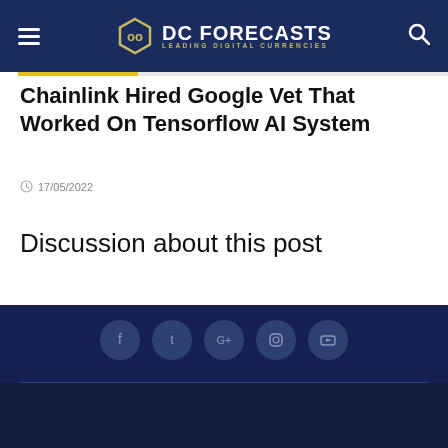DC FORECASTS — LEADING DIGITAL CURRENCIES
Chainlink Hired Google Vet That Worked On Tensorflow AI System
17/05/2022
Discussion about this post
Social icons: Facebook, Twitter, Google+, Instagram, YouTube